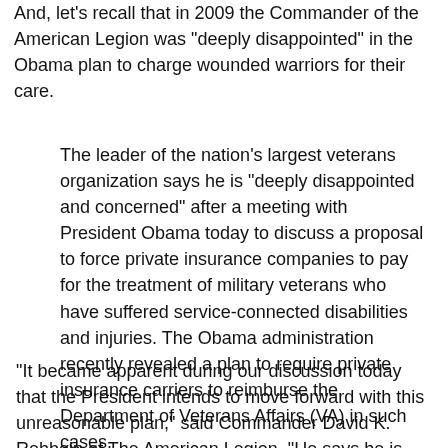And, let's recall that in 2009 the Commander of the American Legion was "deeply disappointed" in the Obama plan to charge wounded warriors for their care.
The leader of the nation's largest veterans organization says he is "deeply disappointed and concerned" after a meeting with President Obama today to discuss a proposal to force private insurance companies to pay for the treatment of military veterans who have suffered service-connected disabilities and injuries. The Obama administration recently revealed a plan to require private insurance carriers to reimburse the Department of Veterans Affairs (VA) in such cases.
"It became apparent during our discussion today that the President intends to move forward with this unreasonable plan," said Commander David K. Rehbein of The American Legion. "He says he is looking to generate $540-million by this method, but refused to hear arguments about the